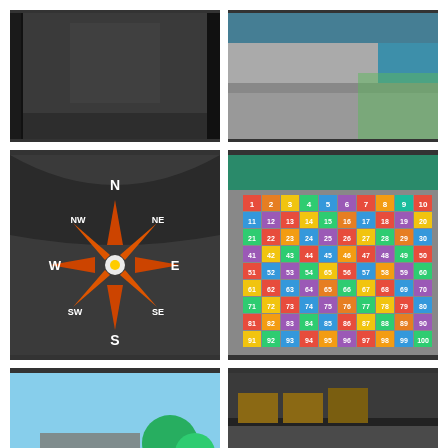[Figure (photo): Dark tarmac playground surface, close-up shot showing texture, viewed through a frame or door]
[Figure (photo): Close-up of playground tarmac surface with colourful markings visible at edge, blue/teal fence or equipment in background]
[Figure (photo): Compass rose painted on dark tarmac playground surface showing N, NE, NW, E, W, SE, SW, S directions in white with orange/red star design]
[Figure (photo): Colourful 1-100 number grid painted on playground floor, numbers arranged in 10x10 grid with multicoloured squares (red, yellow, green, blue, orange, purple)]
[Figure (photo): School playground with black tarmac road markings showing a road circuit with white lines, climbing frame/wooden structure visible, green artificial grass and a blue circle]
[Figure (photo): Playground road markings showing a car park and road intersection with white lines, painted car images (green and blue cars), triangular warning road signs, zebra crossing]